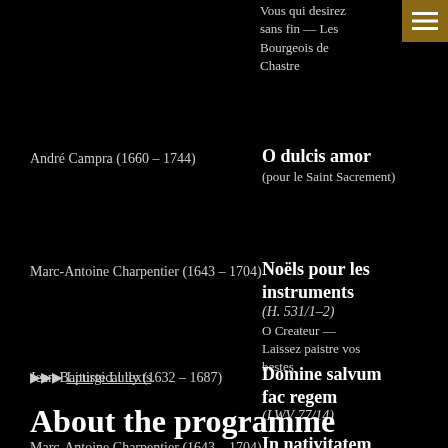Vous qui desirez sans fin — Les Bourgeois de Chastre
[Figure (other): Menu button icon (hamburger) in amber/gold color square]
André Campra (1660 – 1744)
O dulcis amor (pour le Saint Sacrement)
Marc-Antoine Charpentier (1643 – 1704)
Noëls pour les instruments (H. 531/1–2) O Createur — Laissez paistre vos bestes
Jean-Baptiste Lully (1632 – 1687)
Domine salvum fac regem (LWV 77/14)
Marc-Antoine Charpentier (1643 – 1704)
In nativitatem DNJC canticum (H. 414, H. 421)
▶▶▶ Liturgical texts.
About the programme